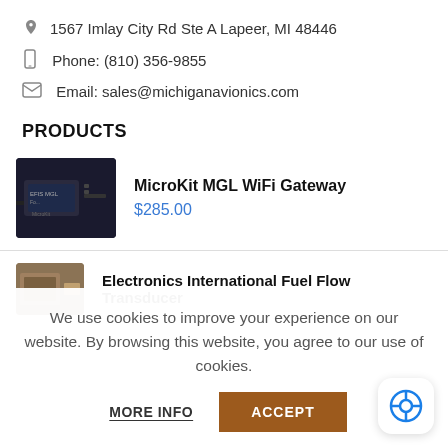1567 Imlay City Rd Ste A Lapeer, MI 48446
Phone: (810) 356-9855
Email: sales@michiganavionics.com
PRODUCTS
[Figure (photo): Photo of MicroKit MGL WiFi Gateway device]
MicroKit MGL WiFi Gateway
$285.00
[Figure (photo): Partial photo of Electronics International Fuel Flow Transducer]
Electronics International Fuel Flow Transducer
We use cookies to improve your experience on our website. By browsing this website, you agree to our use of cookies.
MORE INFO
ACCEPT